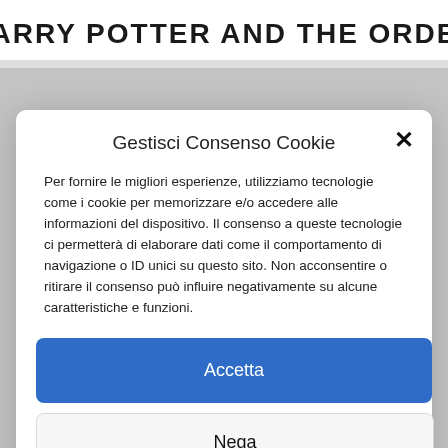HARRY POTTER AND THE ORDER
Gestisci Consenso Cookie
Per fornire le migliori esperienze, utilizziamo tecnologie come i cookie per memorizzare e/o accedere alle informazioni del dispositivo. Il consenso a queste tecnologie ci permetterà di elaborare dati come il comportamento di navigazione o ID unici su questo sito. Non acconsentire o ritirare il consenso può influire negativamente su alcune caratteristiche e funzioni.
Accetta
Nega
Visualizza preferenze
Cookie Policy  Privacy Policy